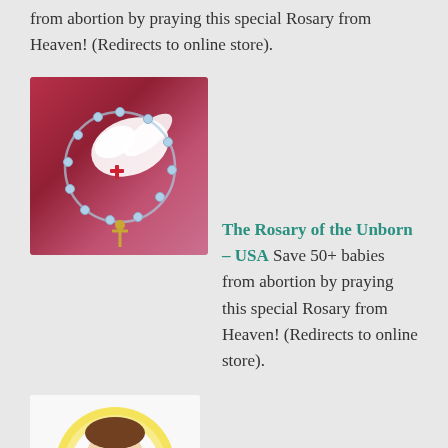from abortion by praying this special Rosary from Heaven! (Redirects to online store).
[Figure (illustration): Illustration of a rosary with a dove and cross on a red/pink background]
The Rosary of the Unborn – USA Save 50+ babies from abortion by praying this special Rosary from Heaven! (Redirects to online store).
[Figure (illustration): Illustration of Jesus with a golden halo, wearing red robes, on a white background]
United Hearts Day Calendar English and Spanish. A Daily Journey Into the Sacred Heart/Un viaje diario al Sagrado Corazón. Over 700 messages selected as a daily devotion on how to enter the Sacred Chambers of the United Hearts of Jesus and Mary (Holy Love Ministry).